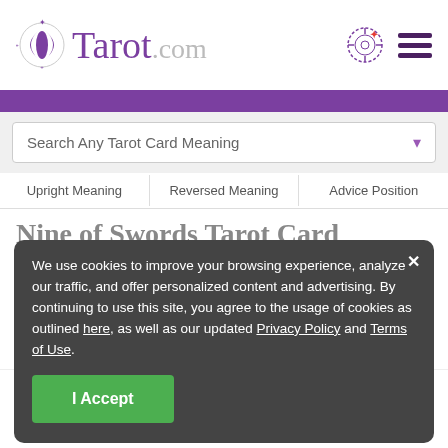[Figure (logo): Tarot.com logo with stylized double crescent icon and text]
Search Any Tarot Card Meaning
Upright Meaning | Reversed Meaning | Advice Position
Nine of Swords Tarot Card Meanings
Honestly admit to yourself that you have ... and energy on a situation that
We use cookies to improve your browsing experience, analyze our traffic, and offer personalized content and advertising. By continuing to use this site, you agree to the usage of cookies as outlined here, as well as our updated Privacy Policy and Terms of Use.
I Accept
Readings | Cards & Decks | Birth Chart | Keen Reading